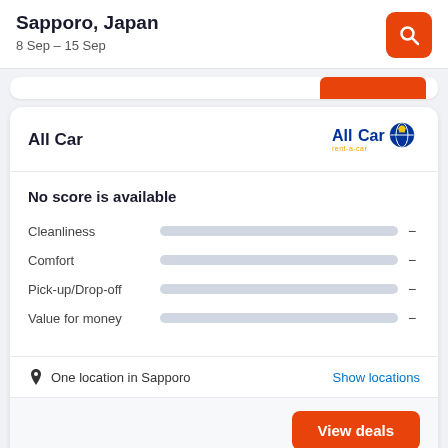Sapporo, Japan
8 Sep – 15 Sep
All Car
No score is available
Cleanliness –
Comfort –
Pick-up/Drop-off –
Value for money –
One location in Sapporo
Show locations
View deals